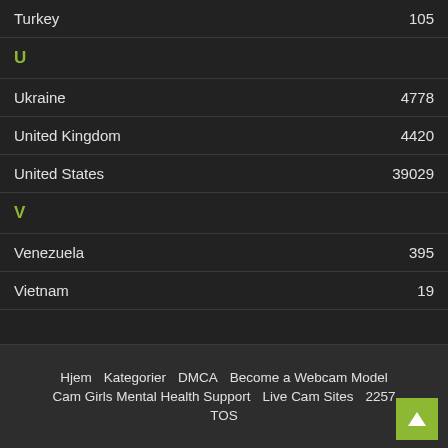Turkey 105
U
Ukraine 4778
United Kingdom 4420
United States 39029
V
Venezuela 395
Vietnam 19
Hjem  Kategorier  DMCA  Become a Webcam Model  Cam Girls Mental Health Support  Live Cam Sites  2257  TOS